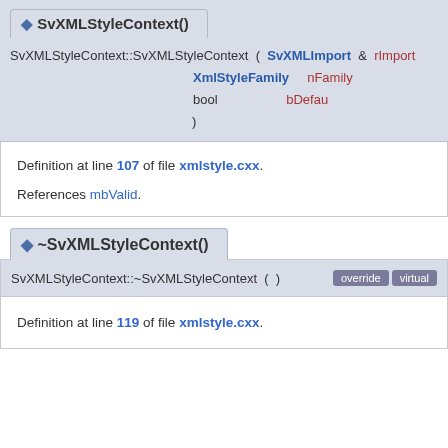SvXMLStyleContext::SvXMLStyleContext ( SvXMLImport & rImport, XmlStyleFamily nFamily, bool bDefault )
Definition at line 107 of file xmlstyle.cxx.
References mbValid.
◆ ~SvXMLStyleContext()
SvXMLStyleContext::~SvXMLStyleContext ( ) override virtual
Definition at line 119 of file xmlstyle.cxx.